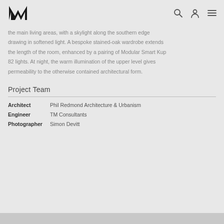Logo and navigation icons (search, account, menu)
the main living areas, with a skylight along the southern edge drawing in softened light. A bespoke stained-oak wardrobe extends the length of the room, enhanced by a pairing of Modular Smart Kup 82 lights. At night, the warm illumination of the upper level gives permeability to the otherwise contained architectural form.
Project Team
Architect  Phil Redmond Architecture & Urbanism
Engineer  TM Consultants
Photographer  Simon Devitt